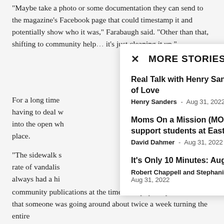“Maybe take a photo or some documentation they can send to the magazine’s Facebook page that could timestamp it and potentially show who it was,” Farabaugh said. “Other than that, shifting to community help… it’s just cleaning it up.”
For a long time… having to deal w… into the open wh… place.
“The sidewalk s… rate of vandalis… always had a hi… locations. Down…
When Farabaug… in places like do… community publications at the time. Pretty quickly, he noticed that someone was going around about twice a week turning the entire
MORE STORIES
Real Talk with Henry Sanders: Leadership of Love
Henry Sanders - Aug 31, 2022
Moms On a Mission (MOMs) ready to support students at East High as new...
David Dahmer - Aug 31, 2022
It’s Only 10 Minutes: August 31
Robert Chappell and Stephanie Díaz de León - Aug 31, 2022